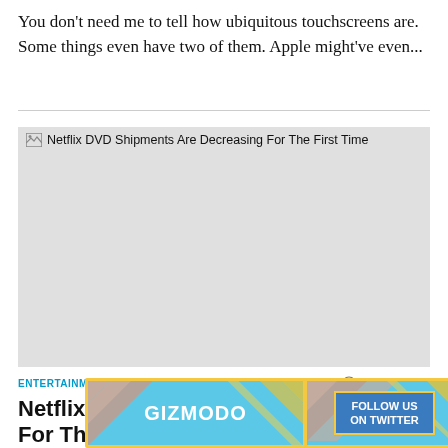You don't need me to tell how ubiquitous touchscreens are. Some things even have two of them. Apple might've even...
[Figure (photo): Broken/missing image placeholder with caption 'Netflix DVD Shipments Are Decreasing For The First Time'. Gray rectangle representing a failed image load.]
Netflix DVD Shipments Are Decreasing For The First Time
ENTERTAINMENT
11 YEARS AGO
Netflix DVD Shipments Are Decreasing For The
[Figure (other): Gizmodo advertisement banner with 'FOLLOW US ON TWITTER' button]